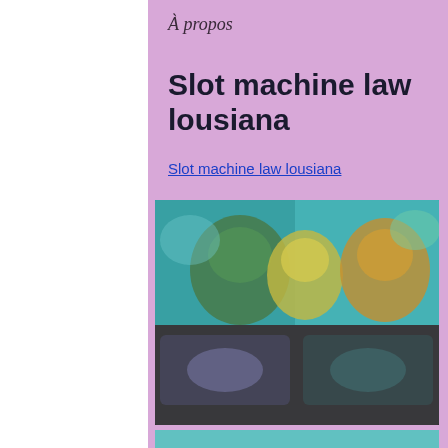À propos
Slot machine law lousiana
Slot machine law lousiana
[Figure (photo): Blurred screenshot of a slot machine or gaming interface with colorful characters and game screens visible.]
[Figure (photo): Partial view of another blurred gaming image at the bottom of the page.]